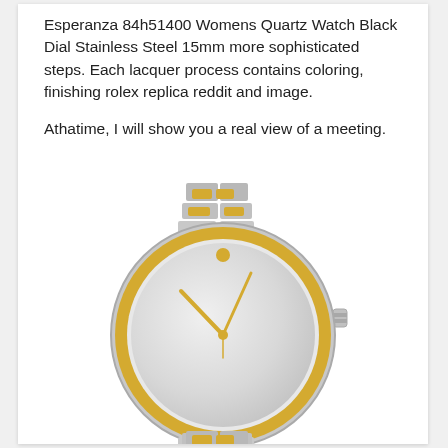Esperanza 84h51400 Womens Quartz Watch Black Dial Stainless Steel 15mm more sophisticated steps. Each lacquer process contains coloring, finishing rolex replica reddit and image.
Athatime, I will show you a real view of a meeting.
[Figure (photo): A two-tone (silver and gold) women's quartz watch with a round face, gold bezel, silver dial with a single gold dot index at 12 o'clock, gold hands, and a two-tone metal bracelet.]